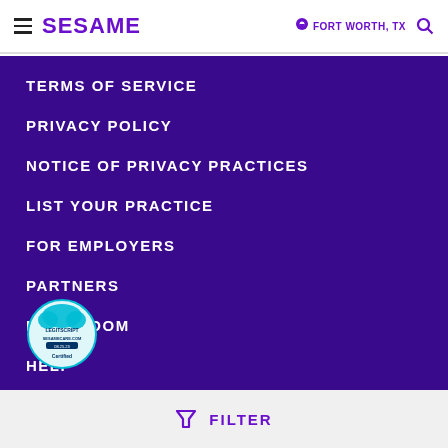SESAME | FORT WORTH, TX
TERMS OF SERVICE
PRIVACY POLICY
NOTICE OF PRIVACY PRACTICES
LIST YOUR PRACTICE
FOR EMPLOYERS
PARTNERS
NEWSROOM
HELP
[Figure (logo): Legitscript certified badge for sesamecare.com]
FILTER